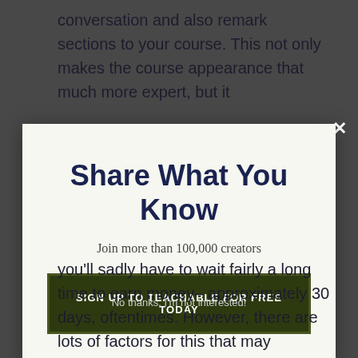conversation and also remark sections to your course. This not only makes the course appearance that much more expert, but it
[Figure (screenshot): Modal popup with title 'Share What You Know', subtitle 'Join more than 100,000 creators', and a dark CTA button 'SIGN UP TO TEACHABLE FOR FREE TODAY']
you'll sadly have to wait fairly a long time to earn money– approximately 30 days, oftentimes. However, there are lots of factors for this that may